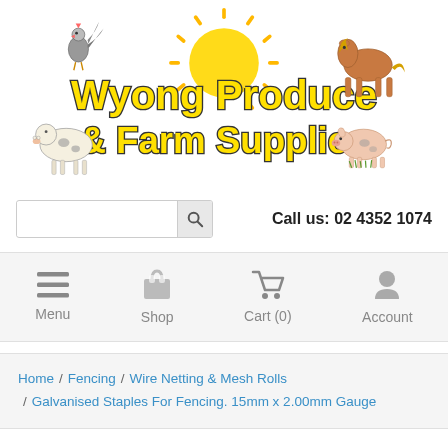[Figure (logo): Wyong Produce & Farm Supplies logo with cartoon farm animals (rooster, cow, horse, pig) and a sun, bold yellow text with dark outline.]
Call us: 02 4352 1074
Menu  Shop  Cart (0)  Account
Home / Fencing / Wire Netting & Mesh Rolls / Galvanised Staples For Fencing. 15mm x 2.00mm Gauge